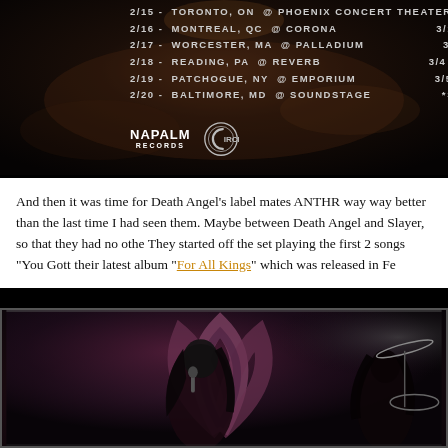[Figure (photo): Concert tour dates promotional image with Napalm Records and Circle logo watermarks. Dark background with tour schedule text listing dates in Toronto ON at Phoenix Concert Theater, Montreal QC at Corona, Worcester MA at Palladium, Reading PA at Reverb, Patchogue NY at Emporium, Baltimore MD at Soundstage, and partial dates on the right side.]
And then it was time for Death Angel's label mates ANTHP way way better than the last time I had seen them. Maybe between Death Angel and Slayer, so that they had no othe They started off the set playing the first 2 songs "You Gott their latest album "For All Kings" which was released in Fe
[Figure (photo): Concert photo showing metal band performers on stage with a large decorative arch/symbol backdrop in purple/dark tones. Two performers visible, one with long dark hair holding a microphone, another singer on the right. Drum kit visible in the background right.]